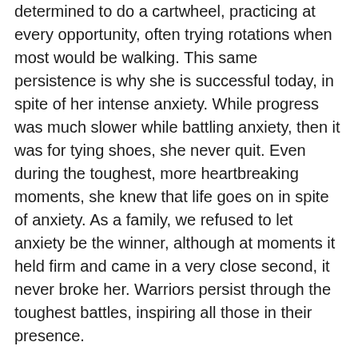determined to do a cartwheel, practicing at every opportunity, often trying rotations when most would be walking. This same persistence is why she is successful today, in spite of her intense anxiety. While progress was much slower while battling anxiety, then it was for tying shoes, she never quit. Even during the toughest, more heartbreaking moments, she knew that life goes on in spite of anxiety. As a family, we refused to let anxiety be the winner, although at moments it held firm and came in a very close second, it never broke her. Warriors persist through the toughest battles, inspiring all those in their presence.
HOPE
“Hope is being able to see that there is light despite all of the